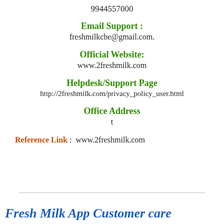9944557000
Email Support :
freshmilkcbe@gmail.com.
Official Website:
www.2freshmilk.com
Helpdesk/Support Page
http://2freshmilk.com/privacy_policy_user.html
Office Address
t
Reference Link :  www.2freshmilk.com
Fresh Milk App Custo...